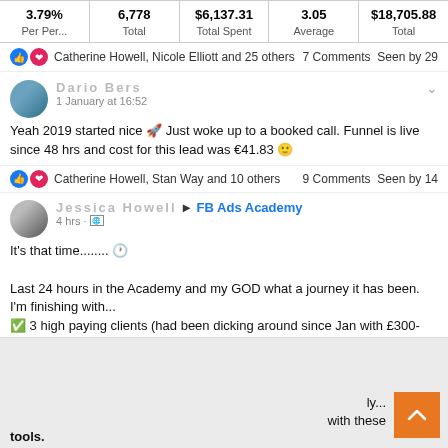| 3.79% Per Per... | 6,778 Total | $6,137.31 Total Spent | 3.05 Average | $18,705.88 Total |
| --- | --- | --- | --- | --- |
Catherine Howell, Nicole Elliott and 25 others   7 Comments  Seen by 29
Dario Bers
1 January at 16:52
Yeah 2019 started nice 🚀 Just woke up to a booked call. Funnel is live since 48 hrs and cost for this lead was €41.83 🙂
Catherine Howell, Stan Way and 10 others   9 Comments  Seen by 14
Jessica Howell ▶ FB Ads Academy
4 hrs · 🌐
It's that time........🕐
Last 24 hours in the Academy and my GOD what a journey it has been.
I'm finishing with...
✅ 3 high paying clients (had been dicking around since Jan with £300-500pm clients started the Academy with not even one of those 🙄🙄🙄)
✅ including and receiving set up fees (I NEVER charged for those before)
ly...
with these
tools.